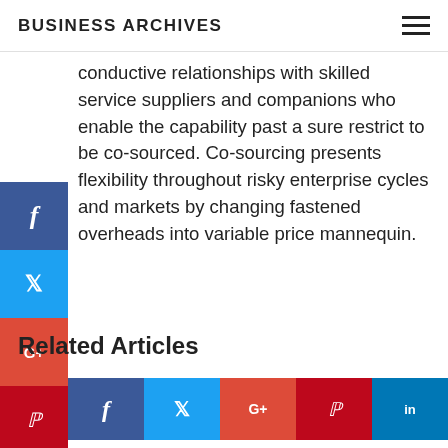BUSINESS ARCHIVES
conductive relationships with skilled service suppliers and companions who enable the capability past a sure restrict to be co-sourced. Co-sourcing presents flexibility throughout risky enterprise cycles and markets by changing fastened overheads into variable price mannequin.
[Figure (infographic): Social media sharing sidebar with icons for Facebook, Twitter, Google+, Pinterest, LinkedIn]
[Figure (infographic): Horizontal social share bar with Facebook, Twitter, Google+, Pinterest, LinkedIn buttons]
Related Articles